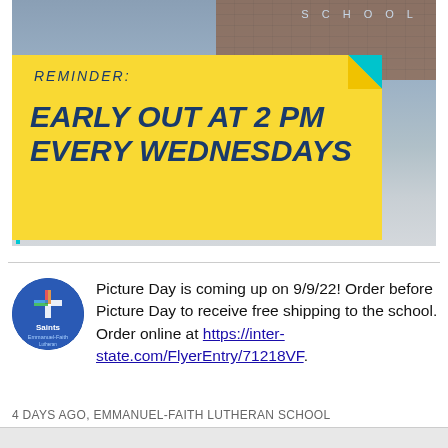[Figure (infographic): School building background photo with a large yellow sticky-note style banner overlay. Banner reads 'REMINDER:' in italic text above 'EARLY OUT AT 2 PM EVERY WEDNESDAYS' in bold italic uppercase dark blue text. A cyan/teal border frames the banner with a folded corner effect. Text 'SCHOOL' appears in letter-spaced text at top right.]
Picture Day is coming up on 9/9/22! Order before Picture Day to receive free shipping to the school. Order online at https://inter-state.com/FlyerEntry/71218VF.
4 DAYS AGO, EMMANUEL-FAITH LUTHERAN SCHOOL